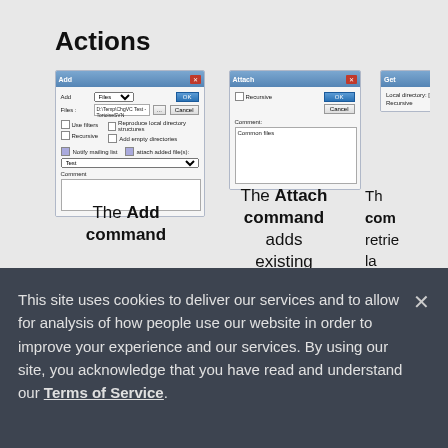Actions
[Figure (screenshot): Add dialog box from a version control application showing fields for Add (Files), Files path, Use filters, Recursive, Notify mailing list, attach added file(s), Comment textarea, with OK and Cancel buttons]
The Add command
[Figure (screenshot): Attach dialog box with Recursive checkbox, OK and Cancel buttons, and Comment textarea with 'Common files' text]
The Attach command adds existing
[Figure (screenshot): Partially visible third dialog]
Th com retrie la vers file the r serv
This site uses cookies to deliver our services and to allow for analysis of how people use our website in order to improve your experience and our services. By using our site, you acknowledge that you have read and understand our Terms of Service.